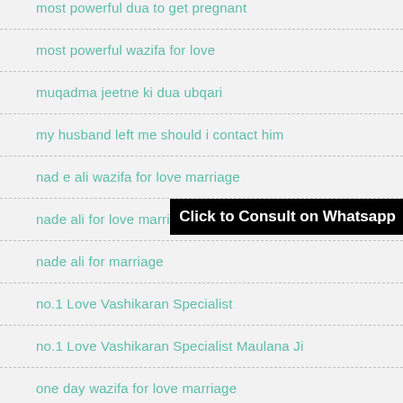most powerful dua to get pregnant
most powerful wazifa for love
muqadma jeetne ki dua ubqari
my husband left me should i contact him
nad e ali wazifa for love marriage
nade ali for love marriage
nade ali for marriage
no.1 Love Vashikaran Specialist
no.1 Love Vashikaran Specialist Maulana Ji
one day wazifa for love marriage